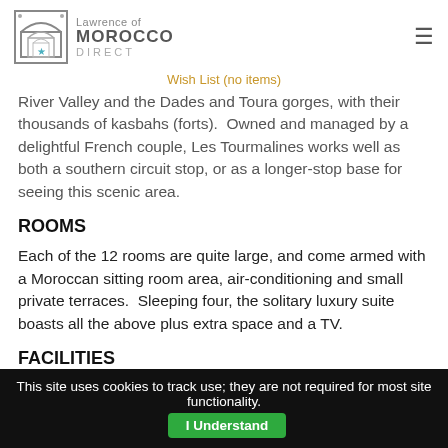Lawrence of Morocco Direct
Wish List (no items)
River Valley and the Dades and Toura gorges, with their thousands of kasbahs (forts).  Owned and managed by a delightful French couple, Les Tourmalines works well as both a southern circuit stop, or as a longer-stop base for seeing this scenic area.
ROOMS
Each of the 12 rooms are quite large, and come armed with a Moroccan sitting room area, air-conditioning and small private terraces.  Sleeping four, the solitary luxury suite boasts all the above plus extra space and a TV.
FACILITIES
Designed to merge with the lake, Les Tourmalines infinity
This site uses cookies to track use; they are not required for most site functionality. I Understand